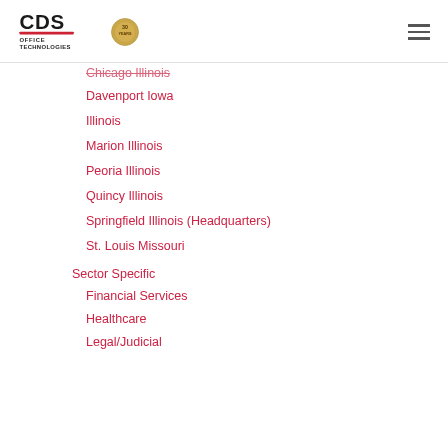CDS Office Technologies
Chicago Illinois
Davenport Iowa
Illinois
Marion Illinois
Peoria Illinois
Quincy Illinois
Springfield Illinois (Headquarters)
St. Louis Missouri
Sector Specific
Financial Services
Healthcare
Legal/Judicial